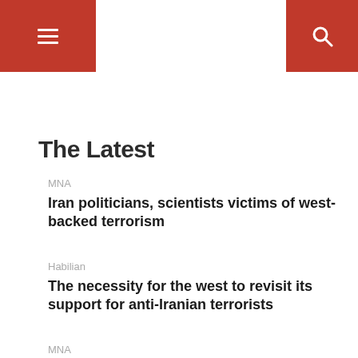≡ [menu] | [search icon]
The Latest
MNA
Iran politicians, scientists victims of west-backed terrorism
Habilian
The necessity for the west to revisit its support for anti-Iranian terrorists
MNA
ISIL attacks in Diyala kill, injure 7 Iraqi forces